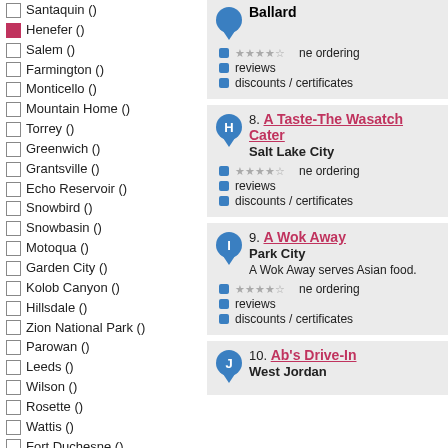Santaquin ()
Henefer ()
Salem ()
Farmington ()
Monticello ()
Mountain Home ()
Torrey ()
Greenwich ()
Grantsville ()
Echo Reservoir ()
Snowbird ()
Snowbasin ()
Motoqua ()
Garden City ()
Kolob Canyon ()
Hillsdale ()
Zion National Park ()
Parowan ()
Leeds ()
Wilson ()
Rosette ()
Wattis ()
Fort Duchesne ()
Black Rock ()
Santa Clara ()
Saratoga Springs ()
Coalville ()
Mantua Reservoir ()
South Ogden ()
Cedarview ()
Manti ()
Hovenweep National Monument ()
Ballard
phone ordering
reviews
discounts / certificates
8. A Taste-The Wasatch Cater
Salt Lake City
phone ordering
reviews
discounts / certificates
9. A Wok Away
Park City
A Wok Away serves Asian food.
phone ordering
reviews
discounts / certificates
10. Ab's Drive-In
West Jordan